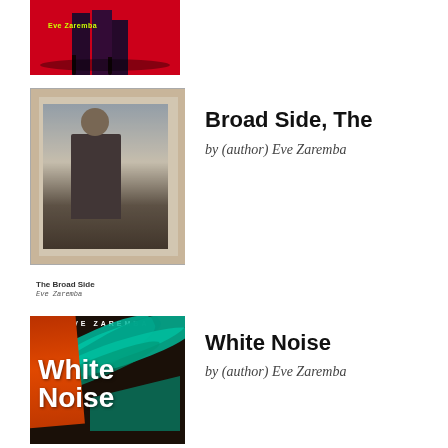[Figure (photo): Partial book cover at top - pink/magenta cover with legs and 'Eve Zaremba' text in yellow-green]
[Figure (photo): Book cover for 'The Broad Side' by Eve Zaremba - vintage photograph style showing a person sitting]
Broad Side, The
by (author) Eve Zaremba
The Broad Side
Eve Zaremba
[Figure (photo): Book cover for 'White Noise' by Eve Zaremba - dark cover with teal swooshes and white bold text]
White Noise
by (author) Eve Zaremba